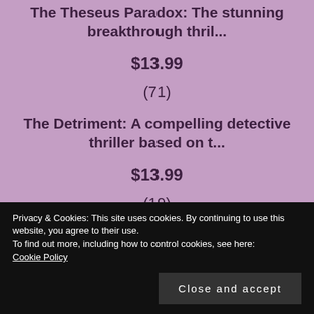The Theseus Paradox: The stunning breakthrough thril...
$13.99
(71)
The Detriment: A compelling detective thriller based on t...
$13.99
(19)
Privacy & Cookies: This site uses cookies. By continuing to use this website, you agree to their use.
To find out more, including how to control cookies, see here: Cookie Policy
Close and accept